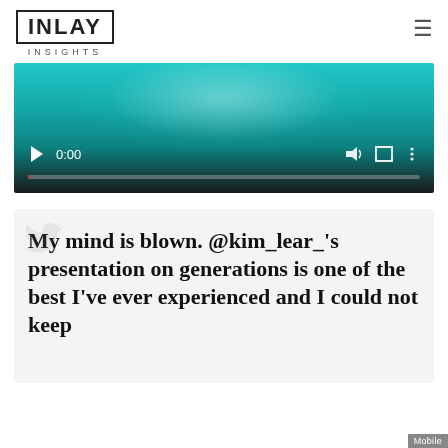[Figure (logo): INLAY INSIGHTS logo in a rectangular border with 'INSIGHTS' text below]
[Figure (screenshot): Video player with teal/dark gradient background showing play button, 0:00 timestamp, volume, fullscreen and menu icons, with a progress bar at the bottom]
My mind is blown. @kim_lear_'s presentation on generations is one of the best I've ever experienced and I could not keep